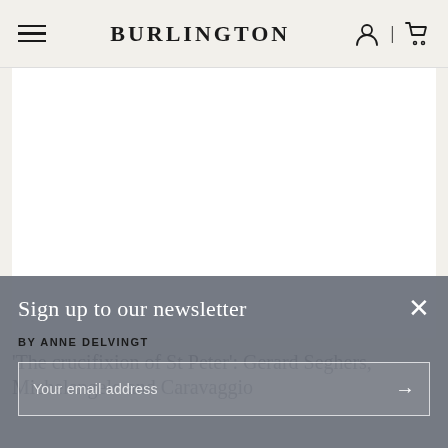BURLINGTON
[Figure (photo): A white/blank image area representing a painting or photograph related to the crucifixion of St Peter article]
'The crucifixion of St Peter': Gerard Seghers, Michelangelo and Caravaggio
Sign up to our newsletter
BY ANNE DELVINGT
Your email address